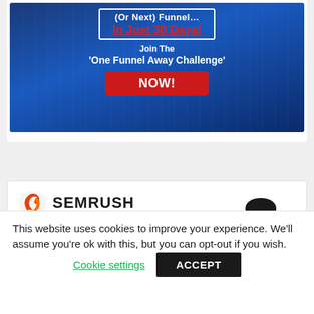[Figure (infographic): Blue gradient advertisement banner with text '(Or Next) Funnel... In Just 30 Days!' in white and red, 'Join The One Funnel Away Challenge' in white bold, and a red NOW! button]
[Figure (infographic): SEMRUSH advertisement with orange/red logo icon, SEMRUSH text in bold black, and partial image of a person's head]
This website uses cookies to improve your experience. We'll assume you're ok with this, but you can opt-out if you wish.
Cookie settings   ACCEPT